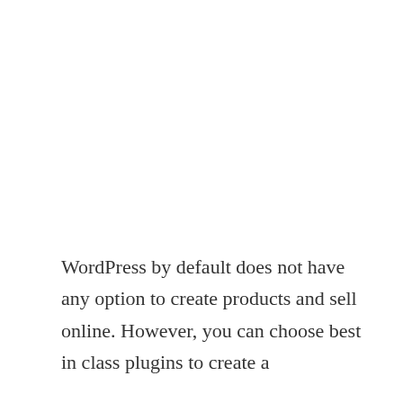WordPress by default does not have any option to create products and sell online. However, you can choose best in class plugins to create a